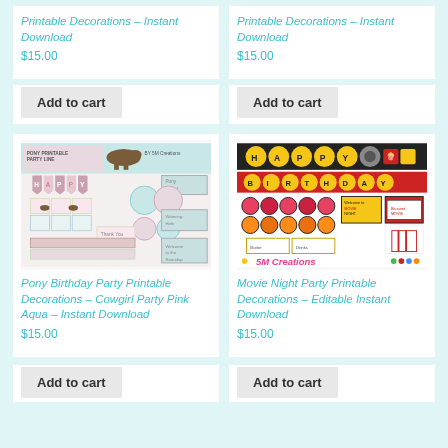Printable Decorations – Instant Download
$15.00
Printable Decorations – Instant Download
$15.00
[Figure (illustration): Pony Birthday Party Printable Party Line by 5M Creations – pink and aqua themed party decorations kit showing banners, circles, tags, signs]
[Figure (illustration): Movie Night Party Printable Decorations set by 5M Creations – red, black and gold themed with circles, banners, food labels and signs]
Pony Birthday Party Printable Decorations – Cowgirl Party Pink Aqua – Instant Download
$15.00
Movie Night Party Printable Decorations – Editable Instant Download
$15.00